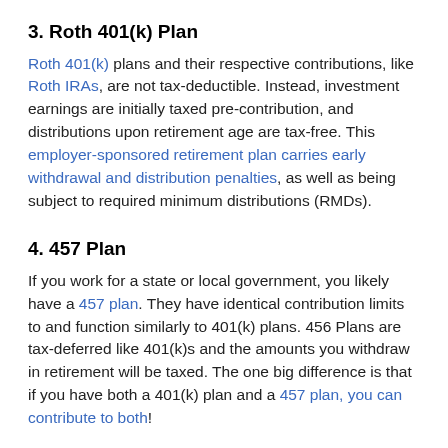3. Roth 401(k) Plan
Roth 401(k) plans and their respective contributions, like Roth IRAs, are not tax-deductible. Instead, investment earnings are initially taxed pre-contribution, and distributions upon retirement age are tax-free. This employer-sponsored retirement plan carries early withdrawal and distribution penalties, as well as being subject to required minimum distributions (RMDs).
4. 457 Plan
If you work for a state or local government, you likely have a 457 plan. They have identical contribution limits to and function similarly to 401(k) plans. 456 Plans are tax-deferred like 401(k)s and the amounts you withdraw in retirement will be taxed. The one big difference is that if you have both a 401(k) plan and a 457 plan, you can contribute to both!